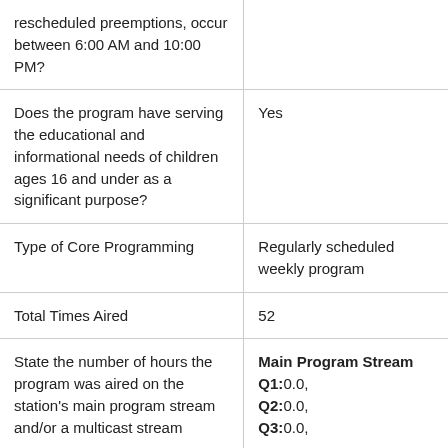| Question | Answer |
| --- | --- |
| rescheduled preemptions, occur between 6:00 AM and 10:00 PM? |  |
| Does the program have serving the educational and informational needs of children ages 16 and under as a significant purpose? | Yes |
| Type of Core Programming | Regularly scheduled weekly program |
| Total Times Aired | 52 |
| State the number of hours the program was aired on the station's main program stream and/or a multicast stream | Main Program Stream Q1:0.0, Q2:0.0, Q3:0.0, |